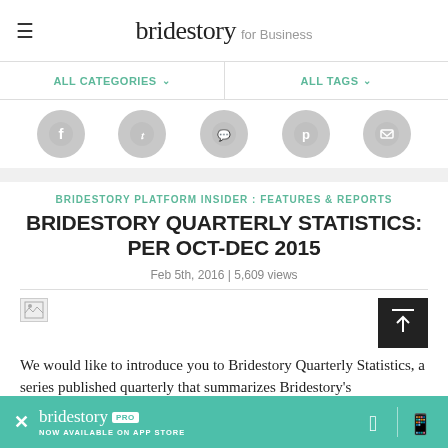bridestory for Business
ALL CATEGORIES   ALL TAGS
[Figure (other): Social media share icons row: Facebook, Twitter, WhatsApp, Pinterest, Email — all gray circles]
BRIDESTORY PLATFORM INSIDER : FEATURES & REPORTS
BRIDESTORY QUARTERLY STATISTICS: PER OCT-DEC 2015
Feb 5th, 2016 | 5,609 views
[Figure (other): Broken image placeholder icon]
We would like to introduce you to Bridestory Quarterly Statistics, a series published quarterly that summarizes Bridestory's performance as a reflection of the overall behavior
bridestory PRO — NOW AVAILABLE ON APP STORE